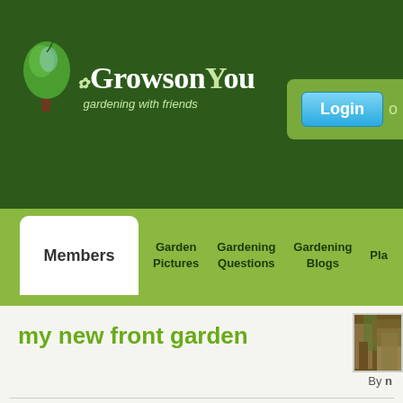[Figure (logo): GrowsonYou gardening with friends logo with tree icon and dragonfly]
[Figure (screenshot): Login button in top right corner, blue gradient button labeled Login]
Members | Garden Pictures | Gardening Questions | Gardening Blogs | Pla...
my new front garden
[Figure (photo): Small thumbnail photo of a garden, brownish dried plants]
By [author name]
8 comments
if you look at the picture above you will see it's a lot to do...